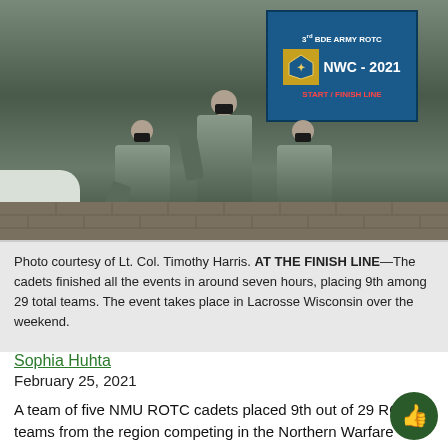[Figure (photo): Three military cadets in camouflage uniforms posing at a start/finish line sign that reads '3rd BDE ARMY ROTC NWC-2021 START/FINISH LINE'. There is snow on the ground and a brick pavement surface.]
Photo courtesy of Lt. Col. Timothy Harris. AT THE FINISH LINE—The cadets finished all the events in around seven hours, placing 9th among 29 total teams. The event takes place in Lacrosse Wisconsin over the weekend.
Sophia Huhta
February 25, 2021
A team of five NMU ROTC cadets placed 9th out of 29 ROTC teams from the region competing in the Northern Warfare Challenge this past weekend.
The Northern Warfare Challenge is a competition to test ROTC cadets' ability to march with a rucksack